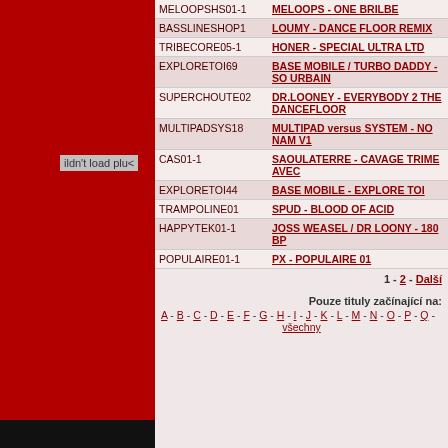[Figure (other): Red left panel with plugin error message 'ildn't load plu']
| Code | Title |
| --- | --- |
| MELOOPSHS01-1 | MELOOPS - ONE BRILBE |
| BASSLINESHOP1 | LOUMY - DANCE FLOOR REMIX |
| TRIBECORE05-1 | HONER - SPECIAL ULTRA LTD |
| EXPLORETOI69 | BASE MOBILE / TURBO DADDY - SO URBAIN |
| SUPERCHOUTE02 | DR.LOONEY - EVERYBODY 2 THE DANCEFLOOR |
| MULTIPADSYS18 | MULTIPAD versus SYSTEM - NO NAM V1 |
| CAS01-1 | SAOULATERRE - CAVAGE TRIME AVEC |
| EXPLORETOI44 | BASE MOBILE - EXPLORE TOI |
| TRAMPOLINE01 | SPUD - BLOOD OF ACID |
| HAPPYTEK01-1 | JOSS WEASEL / DR LOONY - 180 BP |
| POPULAIRE01-1 | PX - POPULAIRE 01 |
1 - 2 - Další
Pouze tituly začínající na:
A - B - C - D - E - F - G - H - I - J - K - L - M - N - O - P - Q - všechny